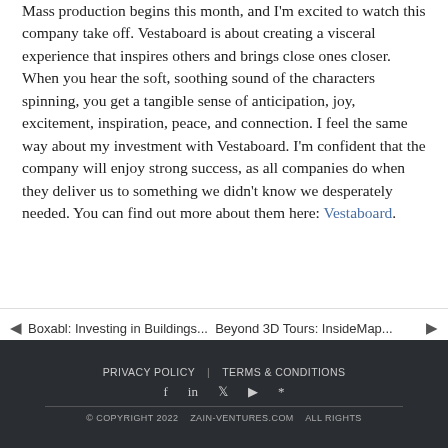Mass production begins this month, and I'm excited to watch this company take off. Vestaboard is about creating a visceral experience that inspires others and brings close ones closer. When you hear the soft, soothing sound of the characters spinning, you get a tangible sense of anticipation, joy, excitement, inspiration, peace, and connection. I feel the same way about my investment with Vestaboard. I'm confident that the company will enjoy strong success, as all companies do when they deliver us to something we didn't know we desperately needed. You can find out more about them here: Vestaboard.
◄ Boxabl: Investing in Buildings...   Beyond 3D Tours: InsideMap... ►
PRIVACY POLICY | TERMS & CONDITIONS  © COPYRIGHT 2022 ZAIN-VENTURES.COM ALL RIGHTS